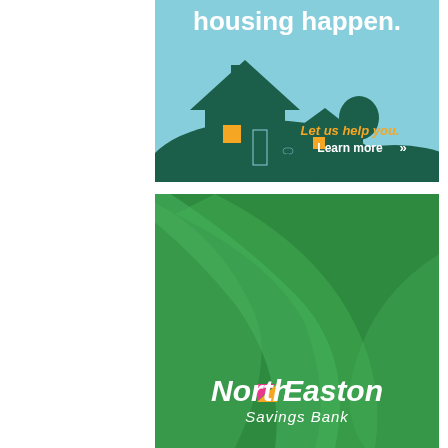[Figure (illustration): Housing advertisement banner with light blue background showing dark teal silhouette of houses and tree on rolling hills, with text 'housing happen.' at top in white bold font, orange bold text 'Let us help you.' and white text 'Learn more >>' with double chevron arrows]
[Figure (logo): North Easton Savings Bank advertisement with dark green background featuring lighter green leaf/wave design patterns, and the bank logo at bottom: 'North Easton' in large white bold italic font with a colorful leaf icon between the words, and 'Savings Bank' in white italic below]